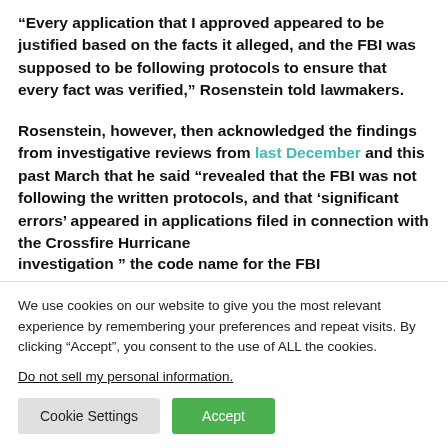“Every application that I approved appeared to be justified based on the facts it alleged, and the FBI was supposed to be following protocols to ensure that every fact was verified,” Rosenstein told lawmakers.
Rosenstein, however, then acknowledged the findings from investigative reviews from last December and this past March that he said “revealed that the FBI was not following the written protocols, and that ‘significant errors’ appeared in applications filed in connection with the Crossfire Hurricane investigation ” the code name for the FBI
We use cookies on our website to give you the most relevant experience by remembering your preferences and repeat visits. By clicking “Accept”, you consent to the use of ALL the cookies.
Do not sell my personal information.